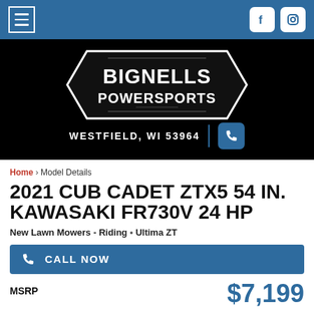Navigation bar with menu button and social icons (Facebook, Instagram)
[Figure (logo): Bignells Powersports logo on black background with address WESTFIELD, WI 53964 and phone button]
Home › Model Details
2021 CUB CADET ZTX5 54 IN. KAWASAKI FR730V 24 HP
New Lawn Mowers - Riding • Ultima ZT
CALL NOW
MSRP $7,199